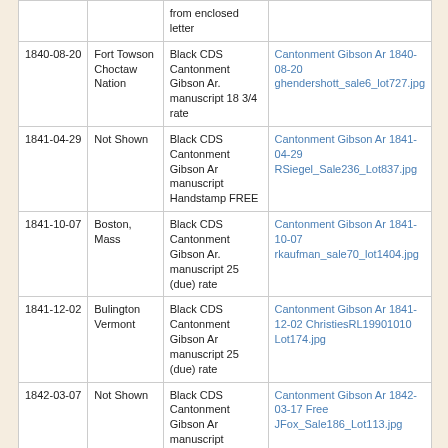| Date | Destination | Marking | Image |
| --- | --- | --- | --- |
|  |  | from enclosed letter |  |
| 1840-08-20 | Fort Towson Choctaw Nation | Black CDS Cantonment Gibson Ar. manuscript 18 3/4 rate | Cantonment Gibson Ar 1840-08-20 ghendershott_sale6_lot727.jpg |
| 1841-04-29 | Not Shown | Black CDS Cantonment Gibson Ar manuscript Handstamp FREE | Cantonment Gibson Ar 1841-04-29 RSiegel_Sale236_Lot837.jpg |
| 1841-10-07 | Boston, Mass | Black CDS Cantonment Gibson Ar. manuscript 25 (due) rate | Cantonment Gibson Ar 1841-10-07 rkaufman_sale70_lot1404.jpg |
| 1841-12-02 | Bulington Vermont | Black CDS Cantonment Gibson Ar manuscript 25 (due) rate | Cantonment Gibson Ar 1841-12-02 ChristiesRL19901010 Lot174.jpg |
| 1842-03-07 | Not Shown | Black CDS Cantonment Gibson Ar manuscript Handstamp FREE | Cantonment Gibson Ar 1842-03-17 Free JFox_Sale186_Lot113.jpg |
| 1842-05-12 | Not Shown | Black CDS Cantonment Gibson Ar Handstamp PAID ms 25 | Cantonment Gibson Ar 1842-05-12 rkaufman_sale71_lot140.jpg |